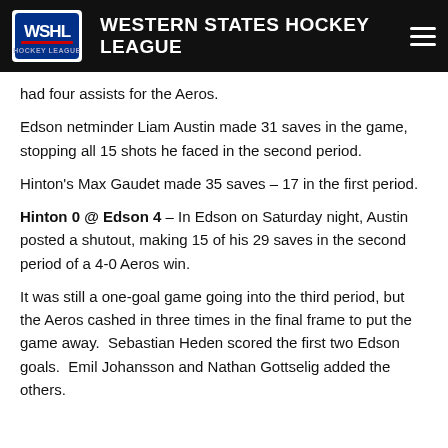WESTERN STATES HOCKEY LEAGUE
had four assists for the Aeros.
Edson netminder Liam Austin made 31 saves in the game, stopping all 15 shots he faced in the second period.
Hinton’s Max Gaudet made 35 saves – 17 in the first period.
Hinton 0 @ Edson 4 – In Edson on Saturday night, Austin posted a shutout, making 15 of his 29 saves in the second period of a 4-0 Aeros win.
It was still a one-goal game going into the third period, but the Aeros cashed in three times in the final frame to put the game away.  Sebastian Heden scored the first two Edson goals.  Emil Johansson and Nathan Gottselig added the others.